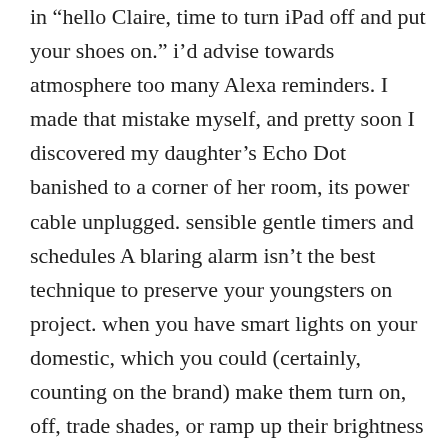in “hello Claire, time to turn iPad off and put your shoes on.” i’d advise towards atmosphere too many Alexa reminders. I made that mistake myself, and pretty soon I discovered my daughter’s Echo Dot banished to a corner of her room, its power cable unplugged. sensible gentle timers and schedules A blaring alarm isn’t the best technique to preserve your youngsters on project. when you have smart lights on your domestic, which you could (certainly, counting on the brand) make them turn on, off, trade shades, or ramp up their brightness to signal a new type, lunchtime, or recess. you could (once again, very possible) additionally set off one-off timers with a purpose to make your lights flash when the time is up. linked product every day and weekly schedules are staples when it comes to smart lights, and most wise